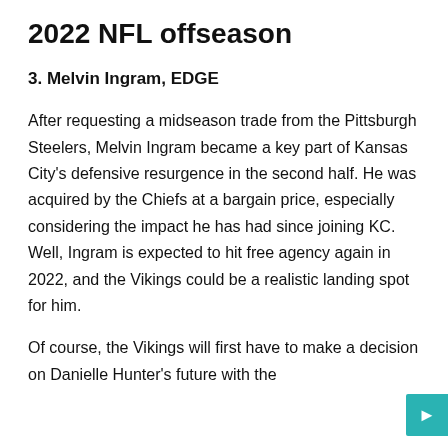2022 NFL offseason
3. Melvin Ingram, EDGE
After requesting a midseason trade from the Pittsburgh Steelers, Melvin Ingram became a key part of Kansas City's defensive resurgence in the second half. He was acquired by the Chiefs at a bargain price, especially considering the impact he has had since joining KC. Well, Ingram is expected to hit free agency again in 2022, and the Vikings could be a realistic landing spot for him.
Of course, the Vikings will first have to make a decision on Danielle Hunter's future with the